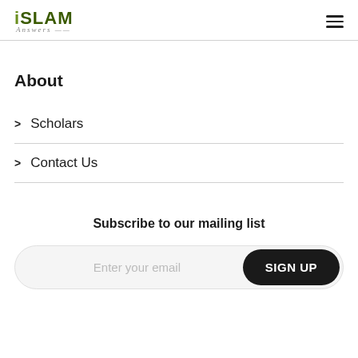ISLAM Answers
About
> Scholars
> Contact Us
Subscribe to our mailing list
Enter your email   SIGN UP